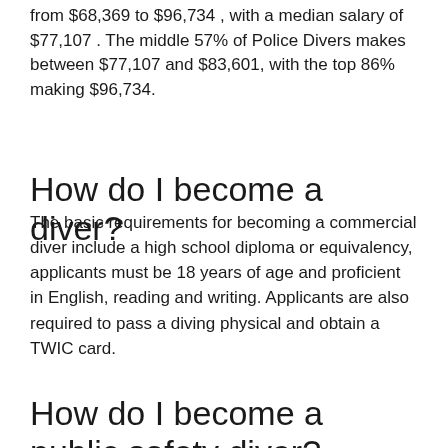The salaries of Police Divers in the US range from $68,369 to $96,734 , with a median salary of $77,107 . The middle 57% of Police Divers makes between $77,107 and $83,601, with the top 86% making $96,734.
How do I become a diver?
The basic requirements for becoming a commercial diver include a high school diploma or equivalency, applicants must be 18 years of age and proficient in English, reading and writing. Applicants are also required to pass a diving physical and obtain a TWIC card.
How do I become a public safety diver?